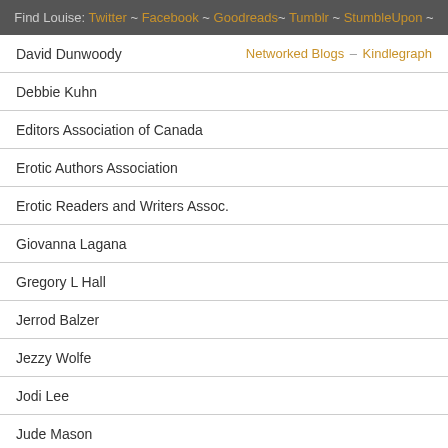Find Louise: Twitter ~ Facebook ~ Goodreads ~ Tumblr ~ StumbleUpon ~
David Dunwoody   Networked Blogs – Kindlegraph
Debbie Kuhn
Editors Association of Canada
Erotic Authors Association
Erotic Readers and Writers Assoc.
Giovanna Lagana
Gregory L Hall
Jerrod Balzer
Jezzy Wolfe
Jodi Lee
Jude Mason
K.H. Koehler